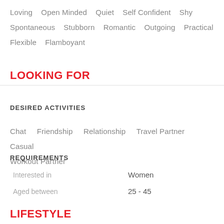Loving  Open Minded  Quiet  Self Confident  Shy  Spontaneous  Stubborn  Romantic  Outgoing  Practical  Flexible  Flamboyant
LOOKING FOR
DESIRED ACTIVITIES
Chat  Friendship  Relationship  Travel Partner  Casual  Workout Partner
REQUIREMENTS
Interested in    Women
Aged between    25 - 45
LIFESTYLE